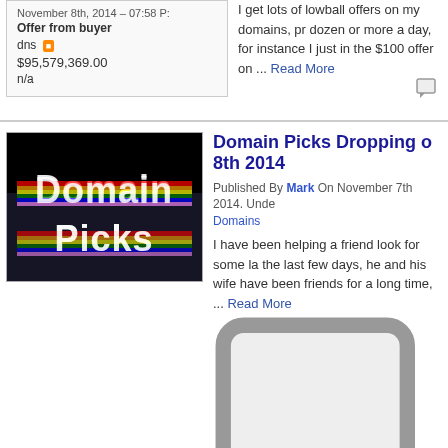November 8th, 2014 – 07:58 P
Offer from buyer
dns
$95,579,369.00
n/a
I get lots of lowball offers on my domains, pr dozen or more a day, for instance I just in th $100 offer on ... Read More
Domain Picks Dropping 8th 2014
Published By Mark On November 7th 2014. Under Domains
I have been helping a friend look for some la the last few days, he and his wife have been friends for a long time, ... Read More
DomainPicks Dropping 4th 2014
Published By Mark On November 3rd 2014. Under Domains
I am sorry my domain blog is having to take a my personal problems these days, and today unfortunately, I figured with all these ... Read